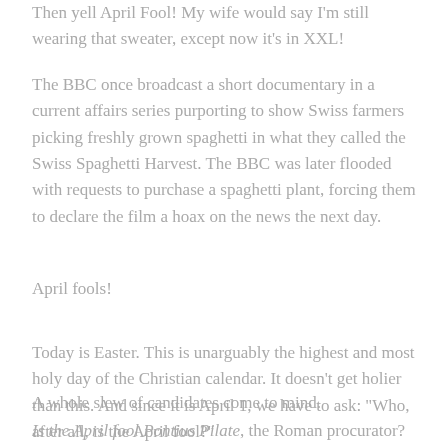Then yell April Fool! My wife would say I'm still wearing that sweater, except now it's in XXL!
The BBC once broadcast a short documentary in a current affairs series purporting to show Swiss farmers picking freshly grown spaghetti in what they called the Swiss Spaghetti Harvest. The BBC was later flooded with requests to purchase a spaghetti plant, forcing them to declare the film a hoax on the news the next day.
April fools!
Today is Easter. This is unarguably the highest and most holy day of the Christian calendar. It doesn't get holier than this. And since it is April 1, we have to ask: "Who, after all, is the April fool?"
A whole slew of candidates come to mind.
Is the April fool Pontius Pilate, the Roman procurator? He was the one who cowered in the face of certain religious leaders who